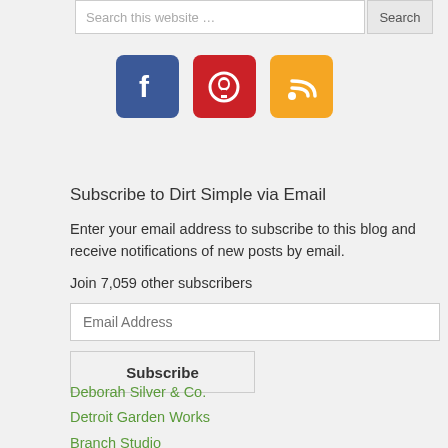Search this website …
[Figure (illustration): Social media icons: Facebook (blue), Pinterest (red), RSS feed (orange)]
Subscribe to Dirt Simple via Email
Enter your email address to subscribe to this blog and receive notifications of new posts by email.
Join 7,059 other subscribers
Email Address
Subscribe
Deborah Silver & Co.
Detroit Garden Works
Branch Studio